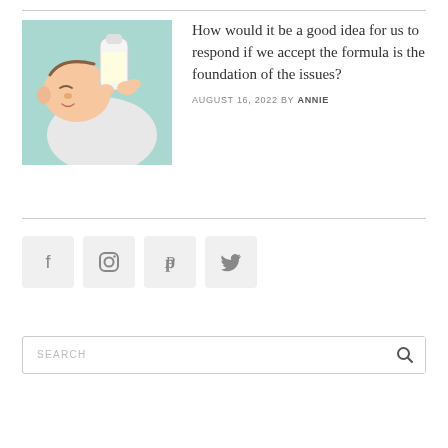[Figure (photo): Baby being bottle-fed, wearing white clothing, soft teal background]
How would it be a good idea for us to respond if we accept the formula is the foundation of the issues?
AUGUST 16, 2022 BY ANNIE
[Figure (infographic): Social media icons: Facebook, Instagram, Pinterest, Twitter]
SEARCH